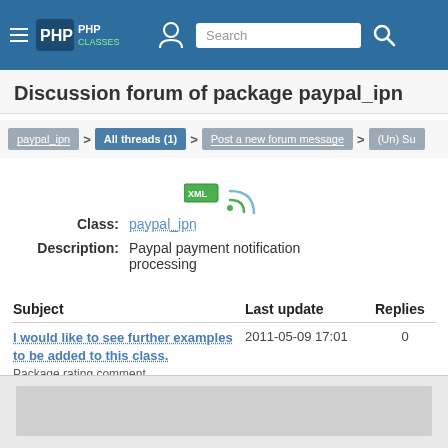PHPClasses navigation bar with Search
Discussion forum of package paypal_ipn
paypal_ipn > All threads (1) > Post a new forum message > (Un) Su
[Figure (other): XML badge and RSS feed icon]
Class: paypal_ipn
Description: Paypal payment notification processing
| Subject | Last update | Replies |
| --- | --- | --- |
| I would like to see further examples to be added to this class.
Package rating comment | 2011-05-09 17:01 | 0 |